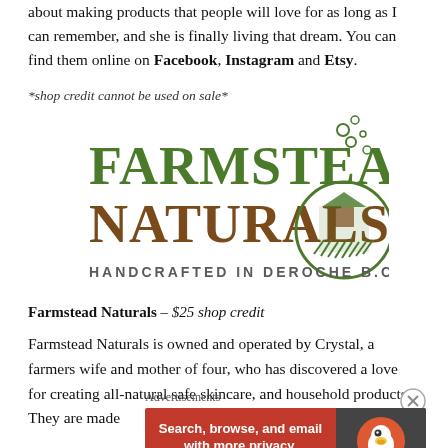about making products that people will love for as long as I can remember, and she is finally living that dream. You can find them online on Facebook, Instagram and Etsy.
*shop credit cannot be used on sale*
[Figure (logo): Farmstead Naturals logo - green and brown text with farm/barn circular emblem. Text reads FARMSTEAD NATURALS HANDCRAFTED IN DEROCHE B.C.]
Farmstead Naturals – $25 shop credit
Farmstead Naturals is owned and operated by Crystal, a farmers wife and mother of four, who has discovered a love for creating all-natural safe skincare, and household products. They are made
[Figure (other): DuckDuckGo advertisement banner: Search, browse, and email with more privacy. All in One Free App]